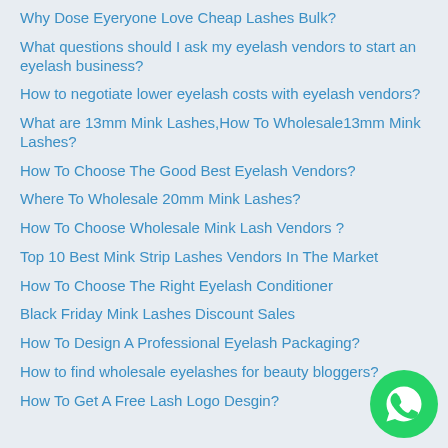Why Dose Eyeryone Love Cheap Lashes Bulk?
What questions should I ask my eyelash vendors to start an eyelash business?
How to negotiate lower eyelash costs with eyelash vendors?
What are 13mm Mink Lashes,How To Wholesale13mm Mink Lashes?
How To Choose The Good Best Eyelash Vendors?
Where To Wholesale 20mm Mink Lashes?
How To Choose Wholesale Mink Lash Vendors ?
Top 10 Best Mink Strip Lashes Vendors In The Market
How To Choose The Right Eyelash Conditioner
Black Friday Mink Lashes Discount Sales
How To Design A Professional Eyelash Packaging?
How to find wholesale eyelashes for beauty bloggers?
How To Get A Free Lash Logo Desgin?
[Figure (logo): WhatsApp contact button - green circle with white phone handset icon]